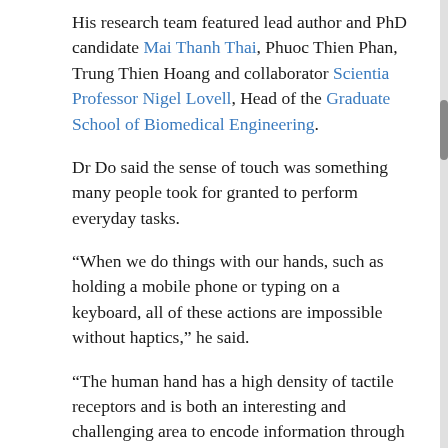His research team featured lead author and PhD candidate Mai Thanh Thai, Phuoc Thien Phan, Trung Thien Hoang and collaborator Scientia Professor Nigel Lovell, Head of the Graduate School of Biomedical Engineering.
Dr Do said the sense of touch was something many people took for granted to perform everyday tasks.
“When we do things with our hands, such as holding a mobile phone or typing on a keyboard, all of these actions are impossible without haptics,” he said.
“The human hand has a high density of tactile receptors and is both an interesting and challenging area to encode information through haptic stimulation, because we use our hands to perceive most objects every day.
“There are many situations where the sense of touch would be useful but is impossible: for example, in a telehealth consultation a doctor is unable to physically